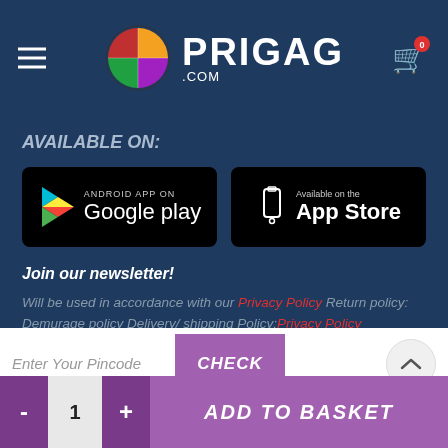[Figure (logo): Prigag.com website header with colorful pinwheel logo, hamburger menu on left, and shopping cart icon on right]
AVAILABLE ON:
[Figure (screenshot): Google Play store badge - Android App on Google Play]
[Figure (screenshot): Apple App Store badge - Available on the App Store]
Join our newsletter!
Will be used in accordance with our Privacy Policy Return policy: Demurage policy Delivery/ shipping Policy:Privacy Policy
Enter Your Pincode
CHECK
- 1 + ADD TO BASKET